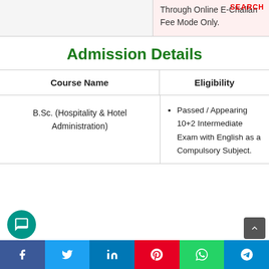SEARCH
Through Online E-Challan Fee Mode Only.
Admission Details
| Course Name | Eligibility |
| --- | --- |
| B.Sc. (Hospitality & Hotel Administration) | Passed / Appearing 10+2 Intermediate Exam with English as a Compulsory Subject. |
Social share bar: Facebook, Twitter, LinkedIn, Pinterest, WhatsApp, Telegram